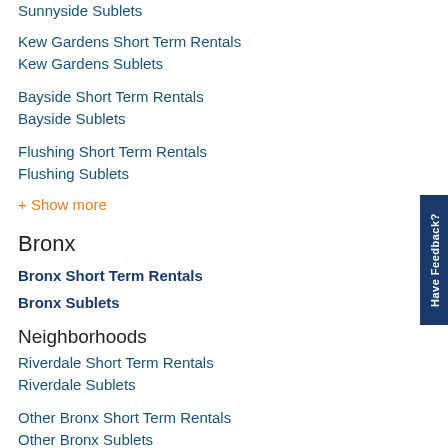Sunnyside Sublets
Kew Gardens Short Term Rentals
Kew Gardens Sublets
Bayside Short Term Rentals
Bayside Sublets
Flushing Short Term Rentals
Flushing Sublets
+ Show more
Bronx
Bronx Short Term Rentals
Bronx Sublets
Neighborhoods
Riverdale Short Term Rentals
Riverdale Sublets
Other Bronx Short Term Rentals
Other Bronx Sublets
Parkchester Short Term Rentals
Parkchester Sublets
Norwood Short Term Rentals